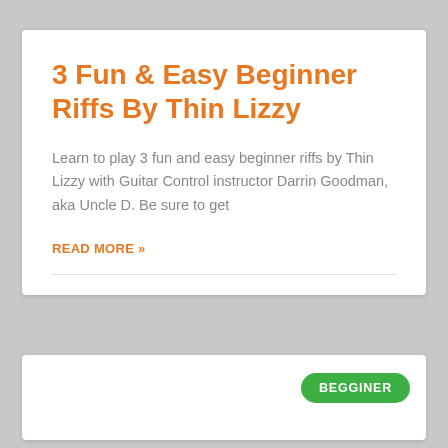3 Fun & Easy Beginner Riffs By Thin Lizzy
Learn to play 3 fun and easy beginner riffs by Thin Lizzy with Guitar Control instructor Darrin Goodman, aka Uncle D. Be sure to get
READ MORE »
BEGGINER